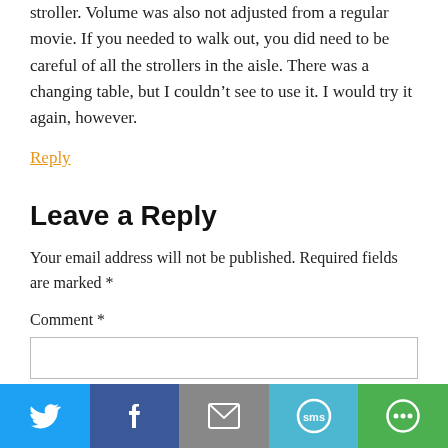stroller. Volume was also not adjusted from a regular movie. If you needed to walk out, you did need to be careful of all the strollers in the aisle. There was a changing table, but I couldn't see to use it. I would try it again, however.
Reply
Leave a Reply
Your email address will not be published. Required fields are marked *
Comment *
[Figure (infographic): Social sharing bar with Twitter, Facebook, Email, SMS, and share icons]